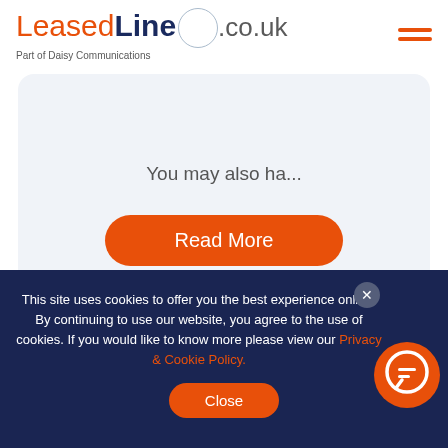[Figure (logo): LeasedLine.co.uk logo with tagline 'Part of Daisy Communications']
You may also ha...
[Figure (other): Orange 'Read More' button on light blue card]
This site uses cookies to offer you the best experience online. By continuing to use our website, you agree to the use of cookies. If you would like to know more please view our Privacy & Cookie Policy.
[Figure (other): Orange chat bubble icon]